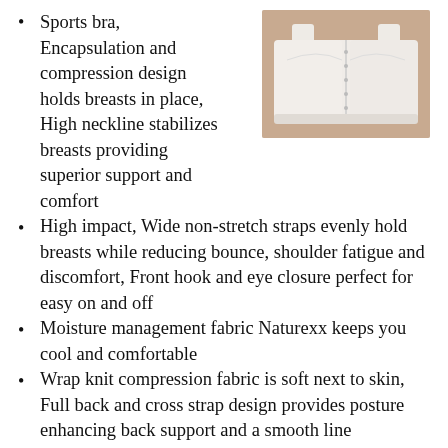[Figure (photo): White sports bra with front hook and eye closure, shown from the back/front angle against a light background.]
Sports bra, Encapsulation and compression design holds breasts in place, High neckline stabilizes breasts providing superior support and comfort
High impact, Wide non-stretch straps evenly hold breasts while reducing bounce, shoulder fatigue and discomfort, Front hook and eye closure perfect for easy on and off
Moisture management fabric Naturexx keeps you cool and comfortable
Wrap knit compression fabric is soft next to skin, Full back and cross strap design provides posture enhancing back support and a smooth line
Will not disappear...